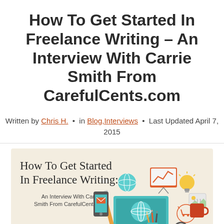How To Get Started In Freelance Writing – An Interview With Carrie Smith From CarefulCents.com
Written by Chris H. • in Blog,Interviews • Last Updated April 7, 2015
[Figure (infographic): Illustrated infographic with beige background showing handwritten script text 'How To Get Started In Freelance Writing:' and subtitle 'An Interview With Carrie Smith From CarefulCents.com' on the left, and a collection of colorful icons (laptop, smartphone, pencil, globe, light bulb, coffee mug, magnifying glass, dart board, envelope, shopping cart, presentation board with line chart) on the right.]